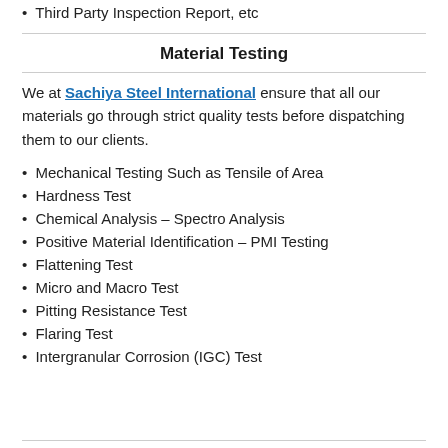Third Party Inspection Report, etc
Material Testing
We at Sachiya Steel International ensure that all our materials go through strict quality tests before dispatching them to our clients.
Mechanical Testing Such as Tensile of Area
Hardness Test
Chemical Analysis – Spectro Analysis
Positive Material Identification – PMI Testing
Flattening Test
Micro and Macro Test
Pitting Resistance Test
Flaring Test
Intergranular Corrosion (IGC) Test